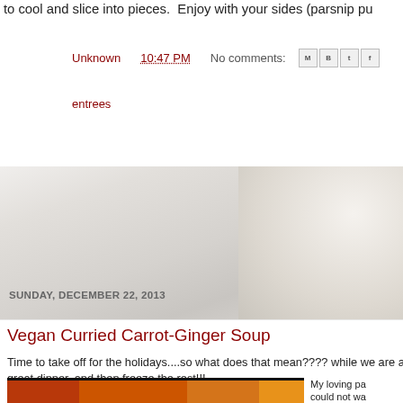to cool and slice into pieces.  Enjoy with your sides (parsnip pu
Unknown  10:47 PM  No comments:
entrees
SUNDAY, DECEMBER 22, 2013
Vegan Curried Carrot-Ginger Soup
Time to take off for the holidays....so what does that mean???? while we are away!  What is better than making a yummy soup great dinner, and then freeze the rest!!!
[Figure (photo): Close-up photo of colorful heirloom carrots (red, orange, yellow) on a wooden cutting board]
My loving pa could not wa having a ne my time to c held blende